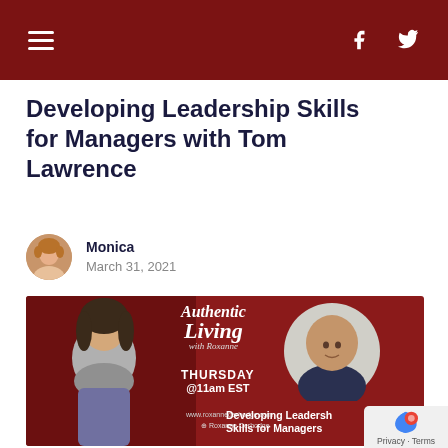Navigation header with hamburger menu, Facebook and Twitter icons
Developing Leadership Skills for Managers with Tom Lawrence
Monica
March 31, 2021
[Figure (photo): Authentic Living with Roxanne podcast promotional banner showing a woman with arms crossed on the left, script text reading 'Authentic Living with Roxanne', text reading 'THURSDAY @11am EST', a circular headshot of a bald man on the right, and text reading 'Developing Leadership Skills for Managers' at the bottom right.]
Privacy · Terms